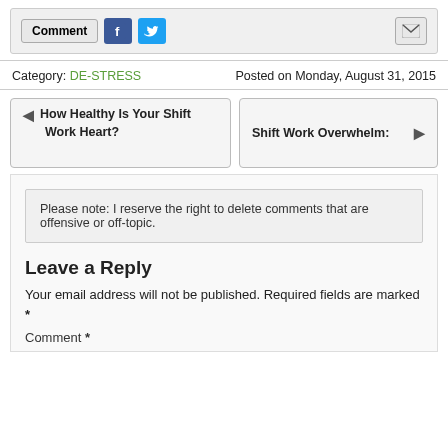[Figure (other): Social sharing toolbar with Comment button, Facebook icon, Twitter icon, and email icon]
Category: DE-STRESS    Posted on Monday, August 31, 2015
How Healthy Is Your Shift Work Heart?
Shift Work Overwhelm:
Please note: I reserve the right to delete comments that are offensive or off-topic.
Leave a Reply
Your email address will not be published. Required fields are marked *
Comment *